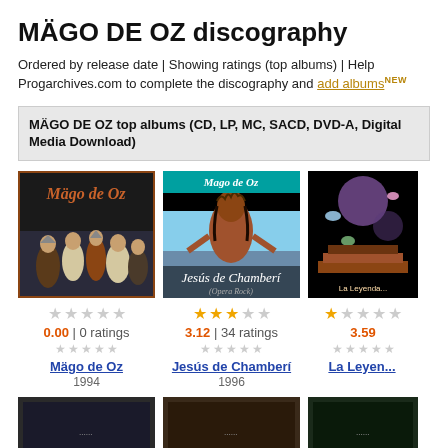MÄGO DE OZ discography
Ordered by release date | Showing ratings (top albums) | Help Progarchives.com to complete the discography and add albums NEW
MÄGO DE OZ top albums (CD, LP, MC, SACD, DVD-A, Digital Media Download)
[Figure (photo): Album cover for Mägo de Oz self-titled 1994 album, showing band members in costume]
[Figure (photo): Album cover for Jesús de Chamberí 1996 album, showing a person with dark hair and crown of thorns]
[Figure (photo): Album cover partially visible, La Leyenda de La Mancha]
0.00 | 0 ratings
3.12 | 34 ratings
3.59
Mägo de Oz
1994
Jesús de Chamberí
1996
La Leyenda
[Figure (photo): Bottom row album covers partially visible]